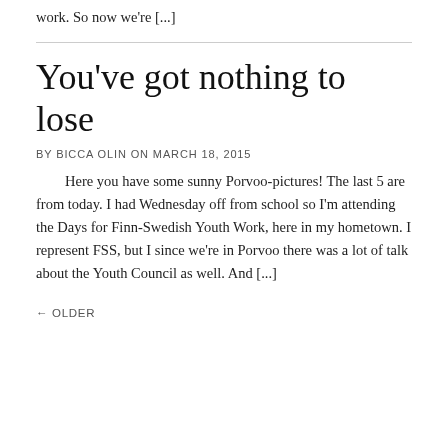work. So now we're [...]
You've got nothing to lose
BY BICCA OLIN ON MARCH 18, 2015
Here you have some sunny Porvoo-pictures! The last 5 are from today. I had Wednesday off from school so I'm attending the Days for Finn-Swedish Youth Work, here in my hometown. I represent FSS, but I since we're in Porvoo there was a lot of talk about the Youth Council as well. And [...]
← OLDER